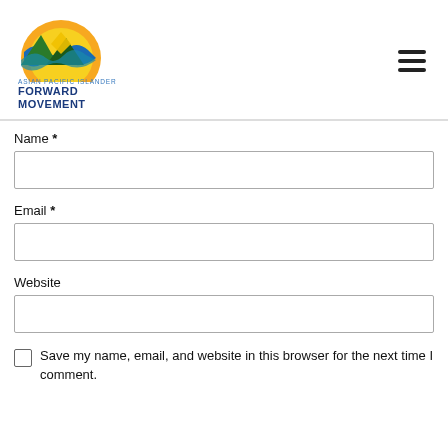[Figure (logo): Asian Pacific Islander Forward Movement logo with colorful semicircle graphic above text]
Name *
Email *
Website
Save my name, email, and website in this browser for the next time I comment.